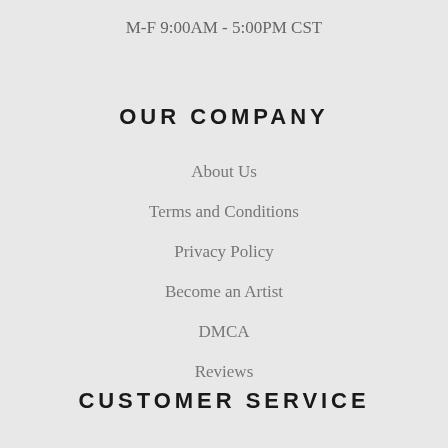M-F 9:00AM - 5:00PM CST
OUR COMPANY
About Us
Terms and Conditions
Privacy Policy
Become an Artist
DMCA
Reviews
CUSTOMER SERVICE